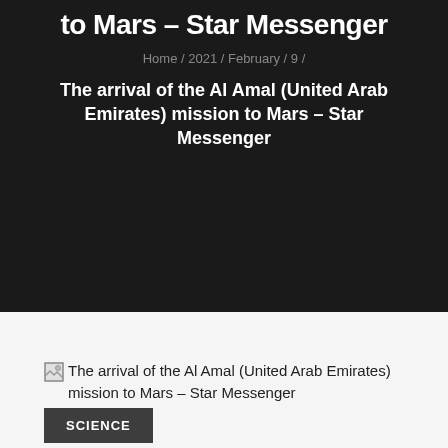to Mars – Star Messenger
Home / 2021 / February / 9 /
The arrival of the Al Amal (United Arab Emirates) mission to Mars – Star Messenger
[Figure (photo): Broken image placeholder for: The arrival of the Al Amal (United Arab Emirates) mission to Mars – Star Messenger]
SCIENCE